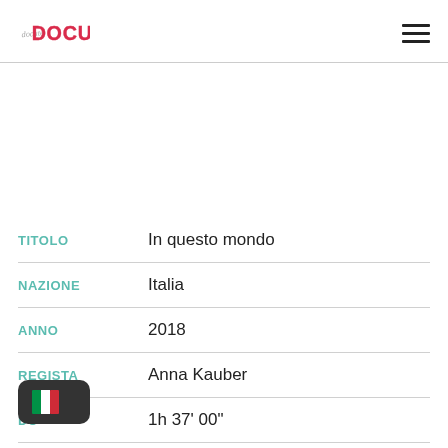DOCU logo and navigation
| Campo | Valore |
| --- | --- |
| TITOLO | In questo mondo |
| NAZIONE | Italia |
| ANNO | 2018 |
| REGISTA | Anna Kauber |
| DU... | 1h 37' 00" |
[Figure (logo): Italian flag badge overlay at bottom left]